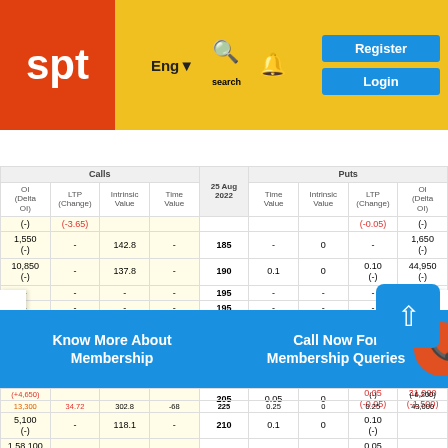[Figure (screenshot): SPT website header with logo, navigation (Eng dropdown, search, bell icons), and Register/Login buttons on gold background]
Member Zone | Free Zone
| OI (Delta OI) | LTP (Change) | Intrinsic Value | Time Value | Strike Price 25 Aug 2022 | Time Value | Intrinsic Value | LTP (Change) | OI (Delta OI) |
| --- | --- | --- | --- | --- | --- | --- | --- | --- |
| (-) | (-3.65) |  |  |  |  |  | (-0.05) | (-) |
| 1,550 (-) | - | 142.8 | - | 185 | - | 0 | - | 1,650 (-) |
| 10,850 (-) | - | 137.8 | - | 190 | 0.1 | 0 | 0.10 (-) | 44,950 (-) |
| - | - | - | - | 195 | - | - | - | - |
| - | - | - | - | 195 | - | - | - | - |
| 5,100 (-) | - | 128.1 | - | 200 | - | 0 | - | 1,19,350 (-) |
| 83,700 (-0,300) | 60.13 (+3.65) | 127.8 | -67 | 200 | 0.05 | 0 | 0.05 (-) | 2,21,650 (-4,650) |
| - | - | - | - | 205 | - | - | - | - |
| 5,100 (-) | - | 122.8 | - | 205 | 0.05 | 0 | 0.05 (-0.05) | 31,000 (-1,500) |
| 5,100 (-) | - | 118.1 | - | 210 | 0.1 | 0 | 0.10 (-) |  |
| 1,58,100 (-) | - | 117.8 | - | 210 | 0.05 | 0 | 0.05 (-) |  |
| - | - | - | - | 215 | - | 0 | - |  |
| 10,8... |  |  |  | 21... |  |  |  | 31,000 |
Know More About Membership
Call Now For Membership Queries
(+4,650)
13,300  34.72  302.8  -68  225  0.25  0  0.25  43,000